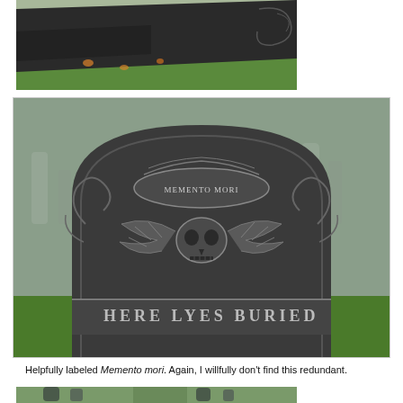[Figure (photo): Close-up photograph of a dark slate gravestone lying on green grass with autumn leaves, showing carved scroll decorative elements]
[Figure (photo): Photograph of a colonial-era gravestone in a cemetery with a winged skull carving and text 'MEMENTO MORI' in a banner, with 'HERE LYES BURIED' carved below]
Helpfully labeled Memento mori. Again, I willfully don't find this redundant.
[Figure (photo): Photograph of multiple gravestones in a cemetery, showing tall dark stones against a green lawn background]